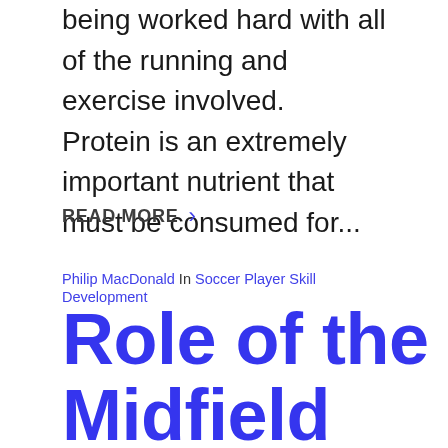being worked hard with all of the running and exercise involved.  Protein is an extremely important nutrient that must be consumed for...
READ MORE >
Philip MacDonald In Soccer Player Skill Development
Role of the Midfield Winger